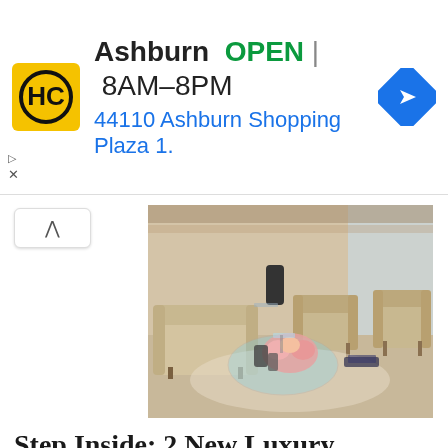[Figure (screenshot): Advertisement banner for Hairclub Ashburn location showing logo, OPEN status, hours 8AM-8PM, address 44110 Ashburn Shopping Plaza 1., and navigation icon]
[Figure (photo): Interior photo of a luxury apartment living room with beige sofas, armchairs, glass coffee table with flowers, and large windows]
Step Inside: 2 New Luxury Penthouse Apartments Revealed At Hôtel Martinez In Cannes
[Figure (photo): Outdoor coastal view of Cannes with hillside buildings and blue sky, partially visible]
Scroll to Top